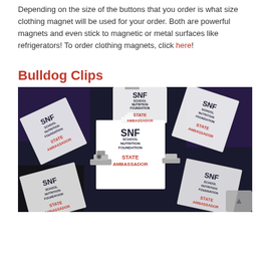Depending on the size of the buttons that you order is what size clothing magnet will be used for your order. Both are powerful magnets and even stick to magnetic or metal surfaces like refrigerators! To order clothing magnets, click here!
Bulldog Clips
[Figure (photo): Pile of SNF School Nutrition Foundation State Ambassador bulldog clip badge holders with silver metal bulldog clips, showing multiple white square badges with red and black text on a dark background.]